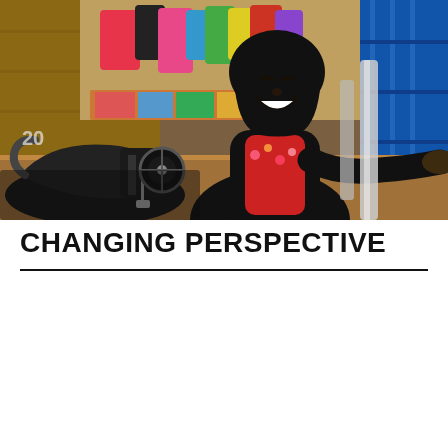[Figure (photo): A smiling woman wearing a black hijab and floral/red jacket seated at or near a vintage black sewing machine. Behind her are colorful piles of fabric and clothing items hanging on display in what appears to be a market or small shop. The foreground shows the sewing machine in sharp detail while the background is slightly blurred.]
CHANGING PERSPECTIVE